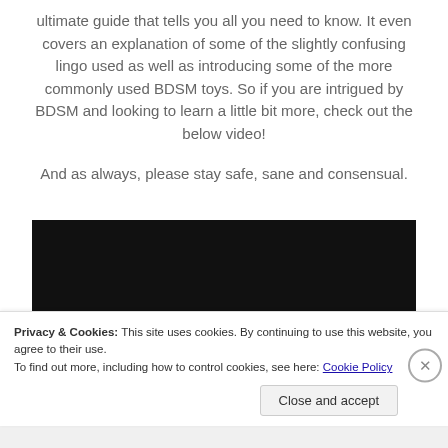ultimate guide that tells you all you need to know. It even covers an explanation of some of the slightly confusing lingo used as well as introducing some of the more commonly used BDSM toys. So if you are intrigued by BDSM and looking to learn a little bit more, check out the below video!
And as always, please stay safe, sane and consensual.
[Figure (screenshot): Embedded YouTube video player showing age-restriction message: 'This video is age-restricted and only available on YouTube. Learn more' with a warning icon circle on the left, on a dark/black background.]
Privacy & Cookies: This site uses cookies. By continuing to use this website, you agree to their use.
To find out more, including how to control cookies, see here: Cookie Policy
Close and accept